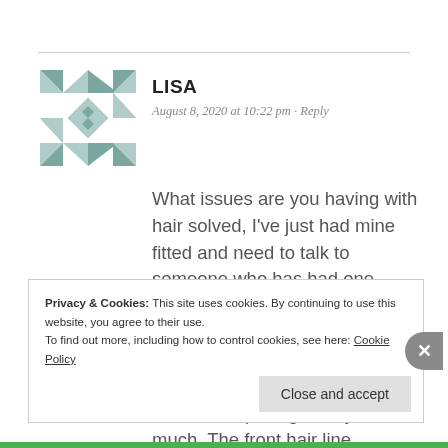LISA
August 8, 2020 at 10:22 pm · Reply
What issues are you having with hair solved, I've just had mine fitted and need to talk to someone who has had one about the feeling of tension does it go away as I am suffering badly with this at the moment (only just had it fitted) but feel it's pulling on my hair so much. The front hair line
Privacy & Cookies: This site uses cookies. By continuing to use this website, you agree to their use.
To find out more, including how to control cookies, see here: Cookie Policy
Close and accept